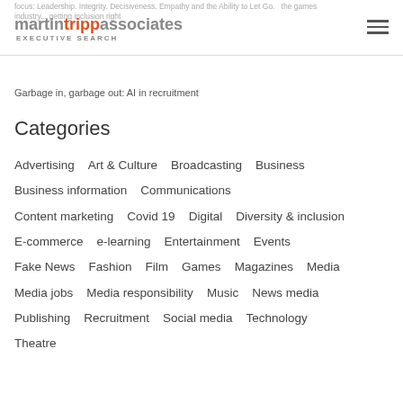focus: Leadership. Integrity. Decisiveness. Empathy and the Ability to Let Go. the games industry... getting inclusion right
Garbage in, garbage out: AI in recruitment
Categories
Advertising
Art & Culture
Broadcasting
Business
Business information
Communications
Content marketing
Covid 19
Digital
Diversity & inclusion
E-commerce
e-learning
Entertainment
Events
Fake News
Fashion
Film
Games
Magazines
Media
Media jobs
Media responsibility
Music
News media
Publishing
Recruitment
Social media
Technology
Theatre